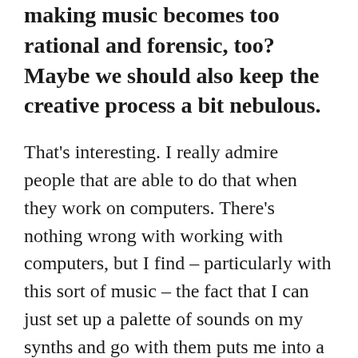making music becomes too rational and forensic, too? Maybe we should also keep the creative process a bit nebulous.
That's interesting. I really admire people that are able to do that when they work on computers. There's nothing wrong with working with computers, but I find – particularly with this sort of music – the fact that I can just set up a palette of sounds on my synths and go with them puts me into a weird sort of zone. These strange instruments with knobs and wires require a different part of my brain than the one I usually think in.